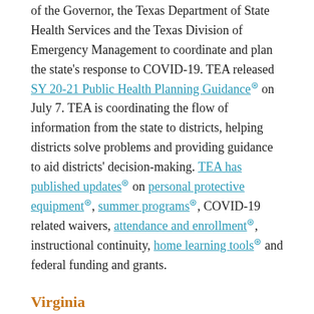of the Governor, the Texas Department of State Health Services and the Texas Division of Emergency Management to coordinate and plan the state's response to COVID-19. TEA released SY 20-21 Public Health Planning Guidance on July 7. TEA is coordinating the flow of information from the state to districts, helping districts solve problems and providing guidance to aid districts' decision-making. TEA has published updates on personal protective equipment, summer programs, COVID-19 related waivers, attendance and enrollment, instructional continuity, home learning tools and federal funding and grants.
Virginia
Virginia's Return to School plan includes a phased reopening of K-12 schools that gradually permits in-person instruction while prioritizing the health and safety of students and staff. The state's approach prioritizes